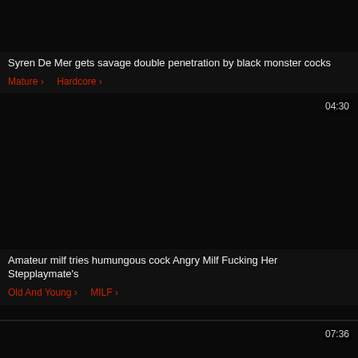[Figure (screenshot): Dark video thumbnail for first video entry]
Syren De Mer gets savage double penetration by black monster cocks
Mature >   Hardcore >
[Figure (screenshot): Dark video thumbnail for second video entry with duration 04:30]
Amateur milf tries humungous cock Angry Milf Fucking Her Stepplaymate's
Old And Young >   MILF >
[Figure (screenshot): Dark video thumbnail for third video entry with duration 07:36]